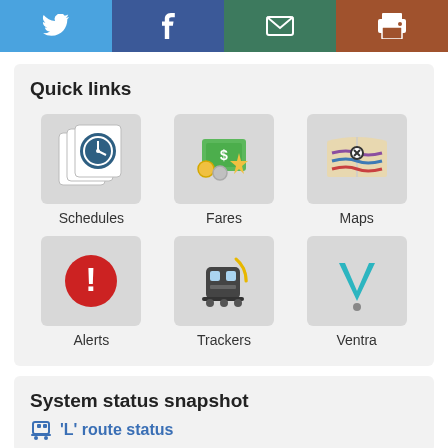[Figure (infographic): Social sharing bar with four buttons: Twitter (blue bird icon), Facebook (blue F icon), Email (green envelope icon), Print (brown printer icon)]
Quick links
[Figure (infographic): Schedules icon: overlapping cards with clock faces]
Schedules
[Figure (infographic): Fares icon: money bills with coins and dollar sign]
Fares
[Figure (infographic): Maps icon: folded map with transit lines]
Maps
[Figure (infographic): Alerts icon: red circle with white exclamation mark]
Alerts
[Figure (infographic): Trackers icon: train/metro front with signal waves]
Trackers
[Figure (logo): Ventra icon: blue/teal V chevron logo]
Ventra
System status snapshot
'L' route status